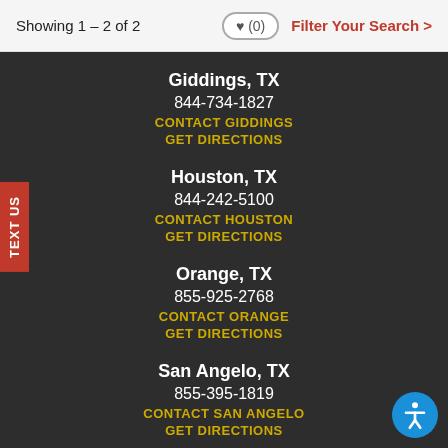Showing 1 – 2 of 2
♥ (0)
Filter Your Search >
Giddings, TX
844-734-1827
CONTACT GIDDINGS
GET DIRECTIONS
Houston, TX
844-242-5100
CONTACT HOUSTON
GET DIRECTIONS
Orange, TX
855-925-2768
CONTACT ORANGE
GET DIRECTIONS
San Angelo, TX
855-395-1819
CONTACT SAN ANGELO
GET DIRECTIONS